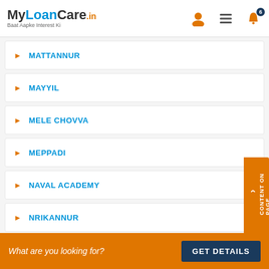MyLoanCare.in - Baat Aapke Interest Ki
MATTANNUR
MAYYIL
MELE CHOVVA
MEPPADI
NAVAL ACADEMY
NRIKANNUR
PADIVATTOM
PAPPINISSERRI
What are you looking for? GET DETAILS